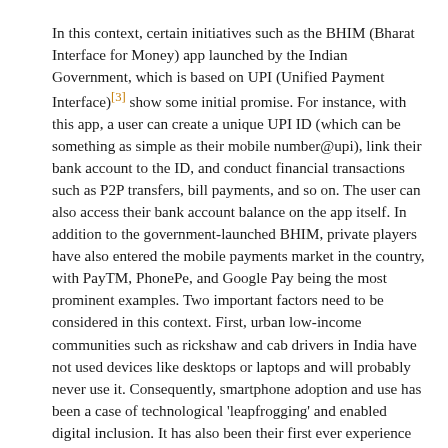In this context, certain initiatives such as the BHIM (Bharat Interface for Money) app launched by the Indian Government, which is based on UPI (Unified Payment Interface)[3] show some initial promise. For instance, with this app, a user can create a unique UPI ID (which can be something as simple as their mobile number@upi), link their bank account to the ID, and conduct financial transactions such as P2P transfers, bill payments, and so on. The user can also access their bank account balance on the app itself. In addition to the government-launched BHIM, private players have also entered the mobile payments market in the country, with PayTM, PhonePe, and Google Pay being the most prominent examples. Two important factors need to be considered in this context. First, urban low-income communities such as rickshaw and cab drivers in India have not used devices like desktops or laptops and will probably never use it. Consequently, smartphone adoption and use has been a case of technological 'leapfrogging' and enabled digital inclusion. It has also been their first ever experience with the internet. Second, a vast majority of internet users in India use WhatsApp; in fact, India accounts for the largest user-base for WhatsApp[4]. Realizing the potential that the mobile payments market in India holds,